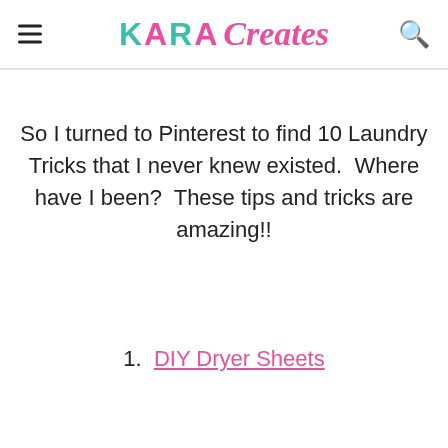KARA Creates
So I turned to Pinterest to find 10 Laundry Tricks that I never knew existed.  Where have I been?  These tips and tricks are amazing!!
1.  DIY Dryer Sheets